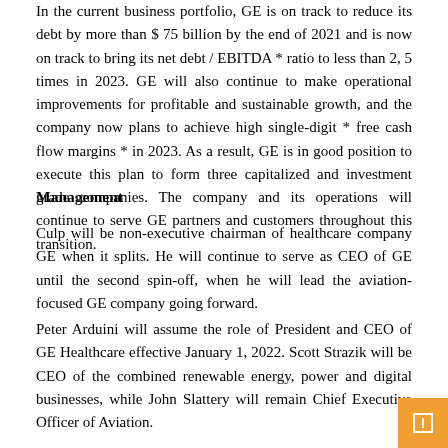In the current business portfolio, GE is on track to reduce its debt by more than $ 75 billion by the end of 2021 and is now on track to bring its net debt / EBITDA * ratio to less than 2, 5 times in 2023. GE will also continue to make operational improvements for profitable and sustainable growth, and the company now plans to achieve high single-digit * free cash flow margins * in 2023. As a result, GE is in good position to execute this plan to form three capitalized and investment grade companies. The company and its operations will continue to serve GE partners and customers throughout this transition.
Management
Culp will be non-executive chairman of healthcare company GE when it splits. He will continue to serve as CEO of GE until the second spin-off, when he will lead the aviation-focused GE company going forward.
Peter Arduini will assume the role of President and CEO of GE Healthcare effective January 1, 2022. Scott Strazik will be CEO of the combined renewable energy, power and digital businesses, while John Slattery will remain Chief Executive Officer of Aviation.